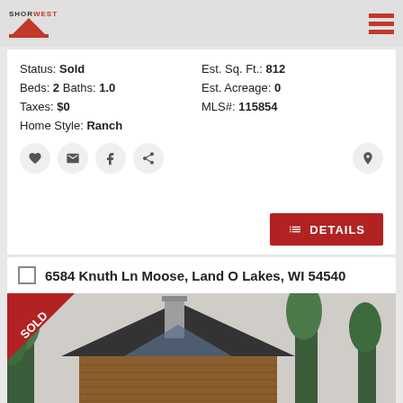Shorewest logo and navigation
Status: Sold
Beds: 2 Baths: 1.0
Taxes: $0
Home Style: Ranch
Est. Sq. Ft.: 812
Est. Acreage: 0
MLS#: 115854
6584 Knuth Ln Moose, Land O Lakes, WI 54540
[Figure (photo): Exterior photo of a log/wood-sided cabin home with peaked roof, stone chimney, and trees in background. Red 'SOLD' banner in top-left corner.]